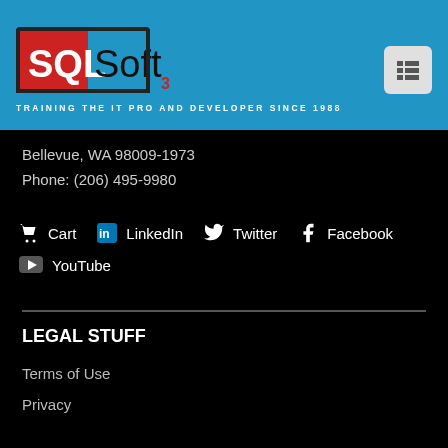[Figure (logo): SQLSoft3 logo on blue background with tagline 'TRAINING THE IT PRO AND DEVELOPER SINCE 1988']
Bellevue, WA 98009-1973
Phone: (206) 495-9980
Cart  LinkedIn  Twitter  Facebook  YouTube
LEGAL STUFF
Terms of Use
Privacy